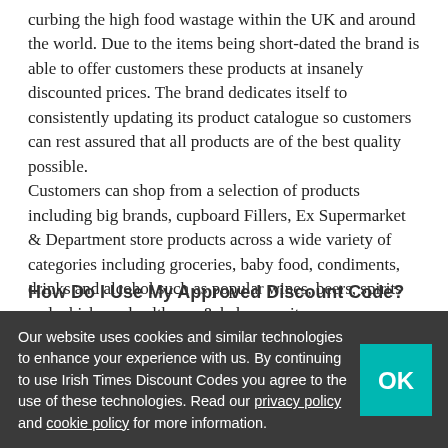curbing the high food wastage within the UK and around the world. Due to the items being short-dated the brand is able to offer customers these products at insanely discounted prices. The brand dedicates itself to consistently updating its product catalogue so customers can rest assured that all products are of the best quality possible. Customers can shop from a selection of products including big brands, cupboard Fillers, Ex Supermarket & Department store products across a wide variety of categories including groceries, baby food, condiments, drinks and alcohol such as popular wines, beers, spirits and whiskeys, healthcare & baby care items.
[Figure (photo): Row of product images including stacked boxes, Walkers crisps, cleaning spray, Heinz Hoops can, and Heinz Spaghetti can]
Our website uses cookies and similar technologies to enhance your experience with us. By continuing to use Irish Times Discount Codes you agree to the use of these technologies. Read our privacy policy and cookie policy for more information.